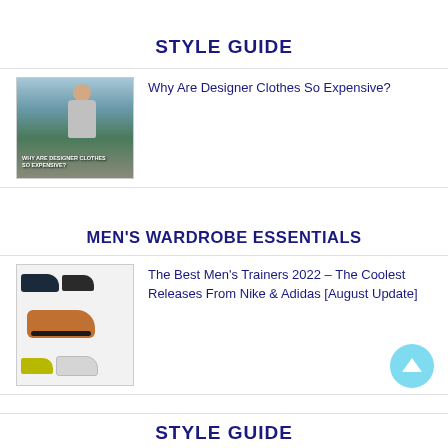STYLE GUIDE
[Figure (photo): Man wearing a gray t-shirt outdoors with text overlay 'WHY ARE DESIGNER CLOTHES SO EXPENSIVE?']
Why Are Designer Clothes So Expensive?
MEN'S WARDROBE ESSENTIALS
[Figure (photo): Collage of multiple trainer/sneaker shoes from Nike and Adidas including orange, black, yellow, and white pairs]
The Best Men's Trainers 2022 – The Coolest Releases From Nike & Adidas [August Update]
STYLE GUIDE